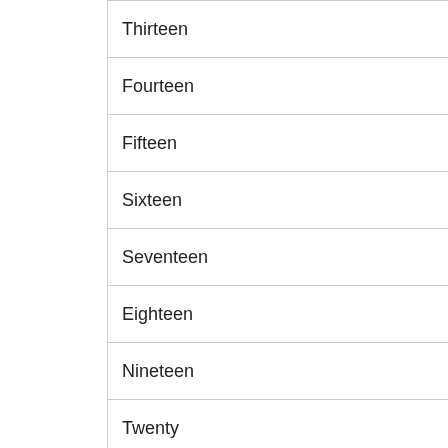| Thirteen |
| Fourteen |
| Fifteen |
| Sixteen |
| Seventeen |
| Eighteen |
| Nineteen |
| Twenty |
| Twenty one |
| Thirty two |
| Forty three |
| Fifty f… |